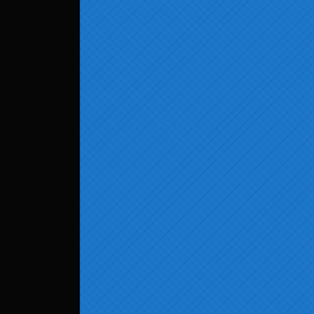firemen attending the blaze), he lands with
VOICEOVER: "Richard Barrett. One of and no logical way of escape for Richard B the gifts given to him by the unknown race lost city in Tibet are called on and used. Th Stirling, Sharron Macready and Richard Ba the qualities and skills of super humans. Th secret to be closely guarded, but it is a secr use their powers to their best advantage, as order and justice."
NOTES: It probably goes without saying, Commentary was based around footage tha filmed of a nearby studio that caught fire o most memorable moment is the shot where the effort to subdue the blaze looks over hi into camera, and gives Monty a very dirty